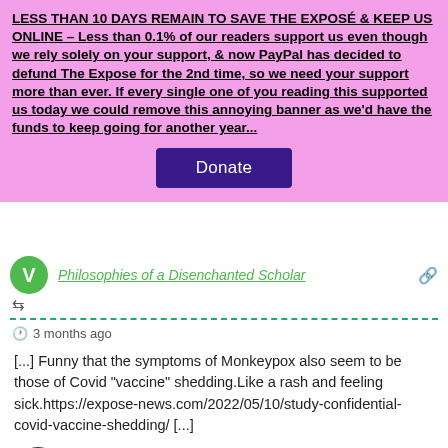LESS THAN 10 DAYS REMAIN TO SAVE THE EXPOSÉ & KEEP US ONLINE – Less than 0.1% of our readers support us even though we rely solely on your support, & now PayPal has decided to defund The Expose for the 2nd time, so we need your support more than ever. If every single one of you reading this supported us today we could remove this annoying banner as we'd have the funds to keep going for another year...
Donate
Philosophies of a Disenchanted Scholar
3 months ago
[...] Funny that the symptoms of Monkeypox also seem to be those of Covid "vaccine" shedding.Like a rash and feeling sick.https://expose-news.com/2022/05/10/study-confidential-covid-vaccine-shedding/ [...]
Reply
COVID-19 vaccine shedding can harm the